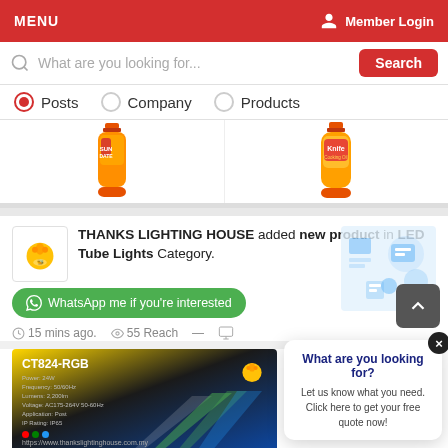MENU   Member Login
What are you looking for...  Search
Posts  Company  Products
[Figure (photo): Two bottles of cooking oil products shown in a horizontal strip]
THANKS LIGHTING HOUSE added new product in LED Tube Lights Category.
WhatsApp me if you're interested
15 mins ago.  55 Reach
[Figure (photo): LED tube light product image with model CT824-RGB on dark background with yellow, black and blue gradient. Includes product specs and colorful light beams. URL: https://www.thankslightinghouse.com.my]
What are you looking for? Let us know what you need. Click here to get your free quote now!